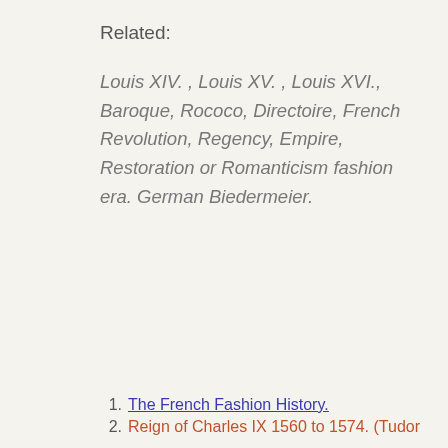Related:
Louis XIV. , Louis XV. , Louis XVI., Baroque, Rococo, Directoire, French Revolution, Regency, Empire, Restoration or Romanticism fashion era. German Biedermeier.
1. The French Fashion History.
2. Reign of Charles IX 1560 to 1574. (Tudor